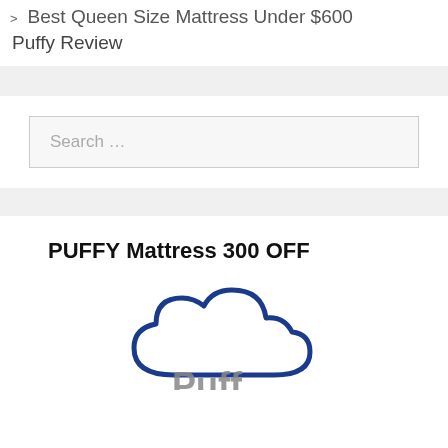> Best Queen Size Mattress Under $600
Puffy Review
[Figure (other): Search bar with placeholder text 'Search ...']
PUFFY Mattress 300 OFF
[Figure (logo): Puffy cloud logo — blue outlined cloud shape with 'Puffy' text partially visible below]